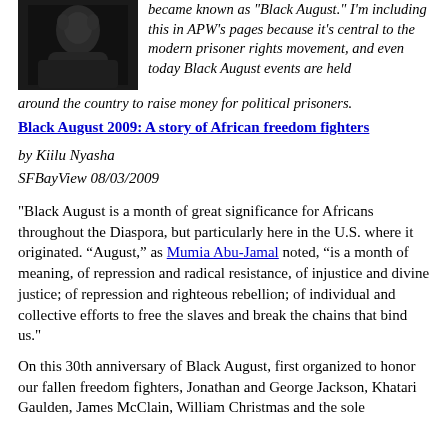[Figure (photo): Black and white photograph showing a person or group, cropped, upper left of page]
became known as 'Black August.' I'm including this in APW's pages because it's central to the modern prisoner rights movement, and even today Black August events are held around the country to raise money for political prisoners.
Black August 2009: A story of African freedom fighters
by Kiilu Nyasha
SFBayView 08/03/2009
"Black August is a month of great significance for Africans throughout the Diaspora, but particularly here in the U.S. where it originated. “August,” as Mumia Abu-Jamal noted, “is a month of meaning, of repression and radical resistance, of injustice and divine justice; of repression and righteous rebellion; of individual and collective efforts to free the slaves and break the chains that bind us."
On this 30th anniversary of Black August, first organized to honor our fallen freedom fighters, Jonathan and George Jackson, Khatari Gaulden, James McClain, William Christmas and the sole...